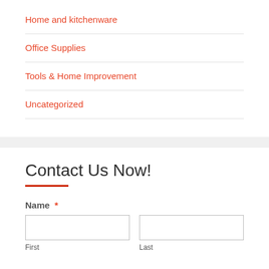Home and kitchenware
Office Supplies
Tools & Home Improvement
Uncategorized
Contact Us Now!
Name *
First
Last